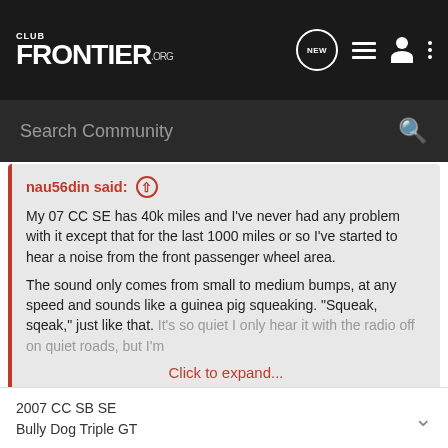CLUB FRONTIER .ORG
Search Community
nau56din said: ↑
My 07 CC SE has 40k miles and I've never had any problem with it except that for the last 1000 miles or so I've started to hear a noise from the front passenger wheel area.

The sound only comes from small to medium bumps, at any speed and sounds like a guinea pig squeaking. "Squeak, sqeak," just like that. It's so quiet I only hear it with the radio off on quiet roads, but I'm
Click to expand...
turn up your hood stops a lil. if its not the hood its gotta be a suspension squeak.
2007 CC SB SE
Bully Dog Triple GT